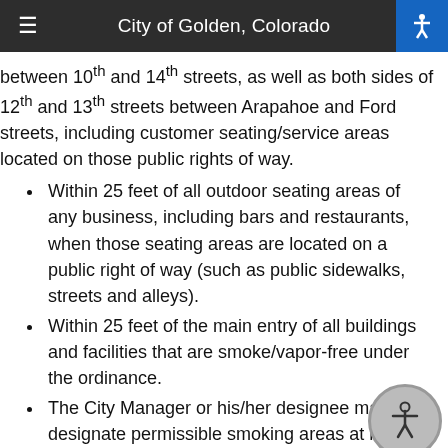City of Golden, Colorado
between 10th and 14th streets, as well as both sides of 12th and 13th streets between Arapahoe and Ford streets, including customer seating/service areas located on those public rights of way.
Within 25 feet of all outdoor seating areas of any business, including bars and restaurants, when those seating areas are located on a public right of way (such as public sidewalks, streets and alleys).
Within 25 feet of the main entry of all buildings and facilities that are smoke/vapor-free under the ordinance.
The City Manager or his/her designee may designate permissible smoking areas at his/her discretion in certain outdoor public areas or during